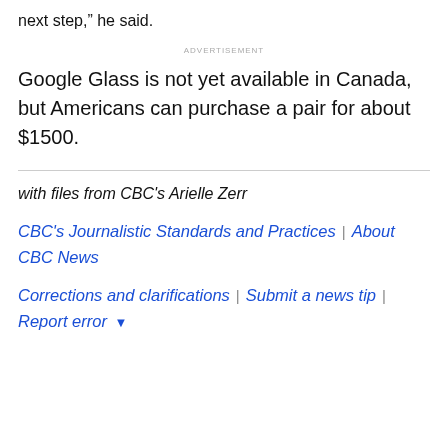next step," he said.
ADVERTISEMENT
Google Glass is not yet available in Canada, but Americans can purchase a pair for about $1500.
with files from CBC's Arielle Zerr
CBC's Journalistic Standards and Practices | About CBC News
Corrections and clarifications | Submit a news tip | Report error ▾